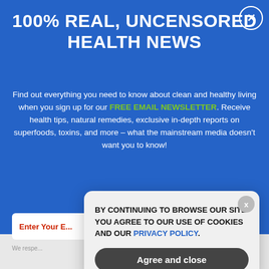100% REAL, UNCENSORED HEALTH NEWS
Find out everything you need to know about clean and healthy living when you sign up for our FREE EMAIL NEWSLETTER. Receive health tips, natural remedies, exclusive in-depth reports on superfoods, toxins, and more – what the mainstream media doesn't want you to know!
Enter Your E...
We respe...
BY CONTINUING TO BROWSE OUR SITE YOU AGREE TO OUR USE OF COOKIES AND OUR PRIVACY POLICY. Agree and close